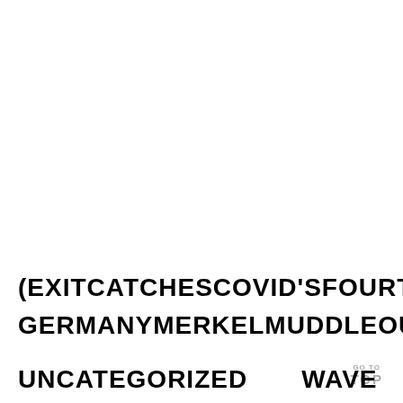(EXIT   CATCHES   COVID'S   FOURTH   GERMANY   MERKEL   MUDDLE   OUT   UNCATEGORIZED   WAVE
GO TO TOP